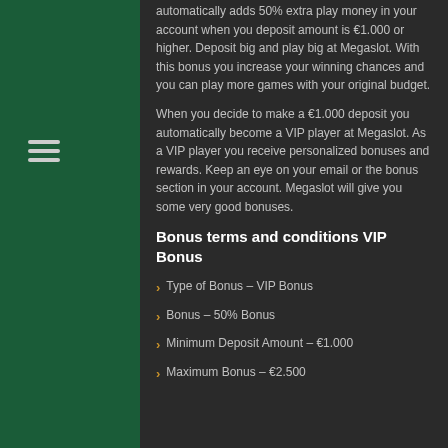automatically adds 50% extra play money in your account when you deposit amount is €1.000 or higher. Deposit big and play big at Megaslot. With this bonus you increase your winning chances and you can play more games with your original budget.
When you decide to make a €1.000 deposit you automatically become a VIP player at Megaslot. As a VIP player you receive personalized bonuses and rewards. Keep an eye on your email or the bonus section in your account. Megaslot will give you some very good bonuses.
Bonus terms and conditions VIP Bonus
Type of Bonus – VIP Bonus
Bonus – 50% Bonus
Minimum Deposit Amount – €1.000
Maximum Bonus – €2.500